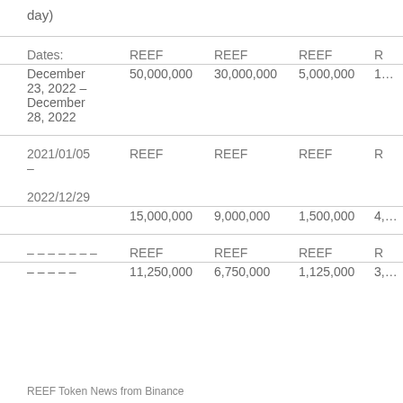day)
| Dates: | REEF | REEF | REEF | R |
| --- | --- | --- | --- | --- |
| December 23, 2022 – December 28, 2022 | 50,000,000 | 30,000,000 | 5,000,000 | 1… |
| 2021/01/05 – 2022/12/29 | 15,000,000 | 9,000,000 | 1,500,000 | 4,… |
| – – – – – – –
– – – – – | 11,250,000 | 6,750,000 | 1,125,000 | 3,… |
REEF Token News from Binance